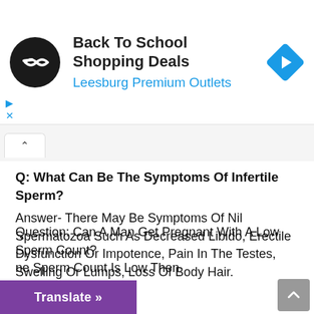[Figure (infographic): Advertisement banner for Back To School Shopping Deals at Leesburg Premium Outlets, with a circular black logo and a blue diamond navigation icon]
Q: What Can Be The Symptoms Of Infertile Sperm?
Answer- There May Be Symptoms Of Nil Spermatozoa Such As Decreased Libido, Erectile Dysfunction Or Impotence, Pain In The Testes, Swelling Or Lumps, Loss Of Body Hair.
Question: Can A Man Get Pregnant With A Low Sperm Count?
Translate »
ne Sperm Count Is Low Then